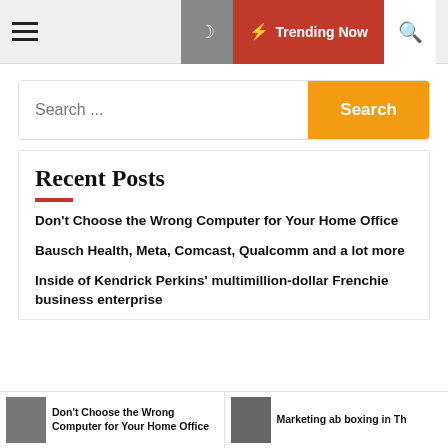≡  🌙  ⚡ Trending Now  🔍
Search ...  [Search button]
Recent Posts
Don't Choose the Wrong Computer for Your Home Office
Bausch Health, Meta, Comcast, Qualcomm and a lot more
Inside of Kendrick Perkins' multimillion-dollar Frenchie business enterprise
Don't Choose the Wrong Computer for Your Home Office
Marketing ab boxing in Th